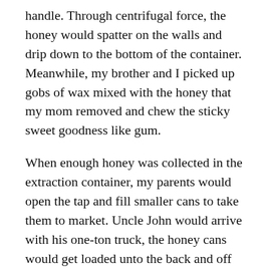handle. Through centrifugal force, the honey would spatter on the walls and drip down to the bottom of the container. Meanwhile, my brother and I picked up gobs of wax mixed with the honey that my mom removed and chew the sticky sweet goodness like gum.
When enough honey was collected in the extraction container, my parents would open the tap and fill smaller cans to take them to market. Uncle John would arrive with his one-ton truck, the honey cans would get loaded unto the back and off we'd go to the honey co-op in Tisdale, known as the “Land of Rape and Honey”. No, this is not as ominous as it sounds. In those days, canola was known as “rapeseed”